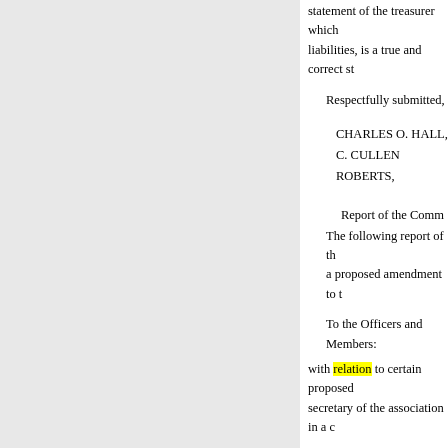statement of the treasurer which liabilities, is a true and correct st
Respectfully submitted,
CHARLES O. HALL,
C. CULLEN ROBERTS,
Report of the Comm
The following report of the a proposed amendment to th
To the Officers and Members:
with relation to certain proposed secretary of the association in a c
The proposed amendment to a
“By vote of the members at th may be combined.”
This proposed consolidation is o
First. Because these are two in always be kept so and filled by t
« ᕶᕡᖐᕶᕸᖀᕳᕶᕷᖄ